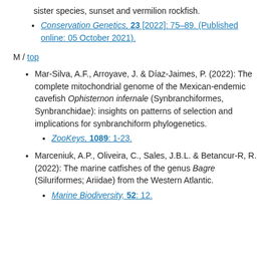sister species, sunset and vermilion rockfish.
Conservation Genetics, 23 [2022]: 75–89. (Published online: 05 October 2021).
M / top
Mar-Silva, A.F., Arroyave, J. & Díaz-Jaimes, P. (2022): The complete mitochondrial genome of the Mexican-endemic cavefish Ophisternon infernale (Synbranchiformes, Synbranchidae): insights on patterns of selection and implications for synbranchiform phylogenetics.
ZooKeys, 1089: 1-23.
Marceniuk, A.P., Oliveira, C., Sales, J.B.L. & Betancur-R, R. (2022): The marine catfishes of the genus Bagre (Siluriformes; Ariidae) from the Western Atlantic.
Marine Biodiversity, 52: 12.